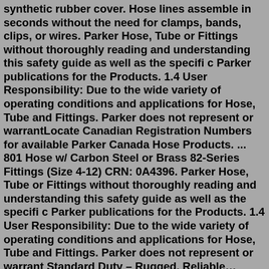synthetic rubber cover. Hose lines assemble in seconds without the need for clamps, bands, clips, or wires. Parker Hose, Tube or Fittings without thoroughly reading and understanding this safety guide as well as the specifi c Parker publications for the Products. 1.4 User Responsibility: Due to the wide variety of operating conditions and applications for Hose, Tube and Fittings. Parker does not represent or warrantLocate Canadian Registration Numbers for available Parker Canada Hose Products. ... 801 Hose w/ Carbon Steel or Brass 82-Series Fittings (Size 4-12) CRN: 0A4396. Parker Hose, Tube or Fittings without thoroughly reading and understanding this safety guide as well as the specifi c Parker publications for the Products. 1.4 User Responsibility: Due to the wide variety of operating conditions and applications for Hose, Tube and Fittings. Parker does not represent or warrant Standard Duty – Rugged, Reliable… PARkER For long term savings and reliable performance Push-Lok Hose from Parker is every assembler first choice by technical quality and